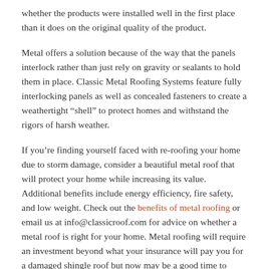whether the products were installed well in the first place than it does on the original quality of the product.
Metal offers a solution because of the way that the panels interlock rather than just rely on gravity or sealants to hold them in place. Classic Metal Roofing Systems feature fully interlocking panels as well as concealed fasteners to create a weathertight “shell” to protect homes and withstand the rigors of harsh weather.
If you’re finding yourself faced with re-roofing your home due to storm damage, consider a beautiful metal roof that will protect your home while increasing its value. Additional benefits include energy efficiency, fire safety, and low weight. Check out the benefits of metal roofing or email us at info@classicroof.com for advice on whether a metal roof is right for your home. Metal roofing will require an investment beyond what your insurance will pay you for a damaged shingle roof but now may be a good time to make that investment once and for all and save yourself